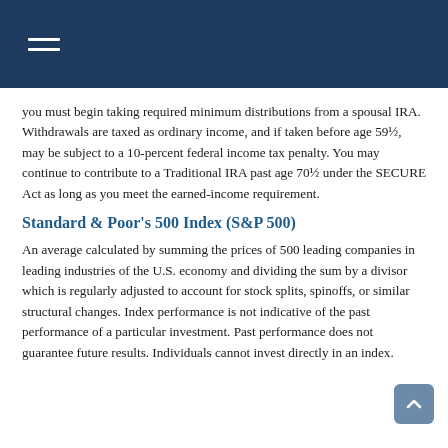Navigation menu icon
you must begin taking required minimum distributions from a spousal IRA. Withdrawals are taxed as ordinary income, and if taken before age 59½, may be subject to a 10-percent federal income tax penalty. You may continue to contribute to a Traditional IRA past age 70½ under the SECURE Act as long as you meet the earned-income requirement.
Standard & Poor's 500 Index (S&P 500)
An average calculated by summing the prices of 500 leading companies in leading industries of the U.S. economy and dividing the sum by a divisor which is regularly adjusted to account for stock splits, spinoffs, or similar structural changes. Index performance is not indicative of the past performance of a particular investment. Past performance does not guarantee future results. Individuals cannot invest directly in an index.